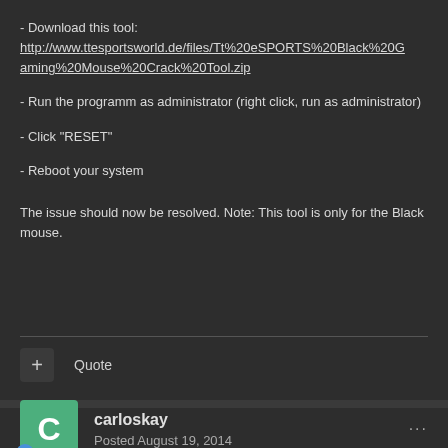- Download this tool: http://www.ttesportsworld.de/files/Tt%20eSPORTS%20Black%20Gaming%20Mouse%20Crack%20Tool.zip
- Run the programm as administrator (right click, run as administrator)
- Click "RESET"
- Reboot your system
The issue should now be resolved. Note: This tool is only for the Black mouse.
+ Quote
carloskay
Posted August 19, 2014